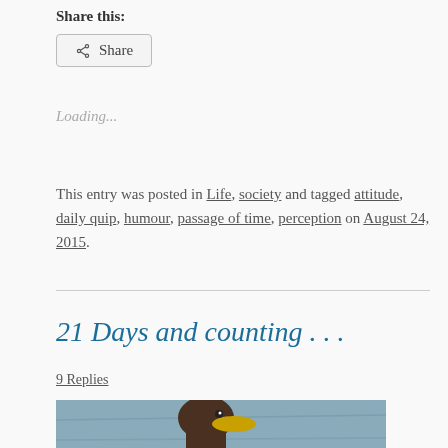Share this:
< Share
Loading...
This entry was posted in Life, society and tagged attitude, daily quip, humour, passage of time, perception on August 24, 2015.
21 Days and counting . . .
9 Replies
[Figure (photo): Partial photo of a bird (appears to be a duck or seabird) swimming in water, cropped at bottom of page]